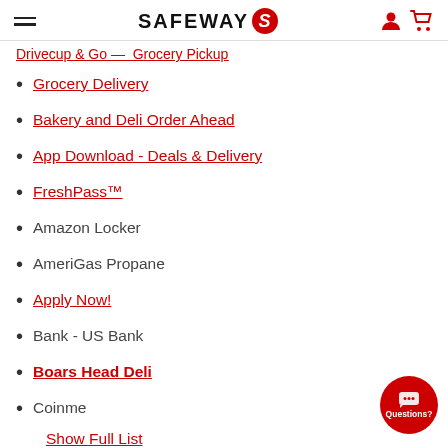SAFEWAY
Drivecup & Go — Grocery Pickup (partial/truncated link)
Grocery Delivery
Bakery and Deli Order Ahead
App Download - Deals & Delivery
FreshPass™
Amazon Locker
AmeriGas Propane
Apply Now!
Bank - US Bank
Boars Head Deli
Coinme
Show Full List